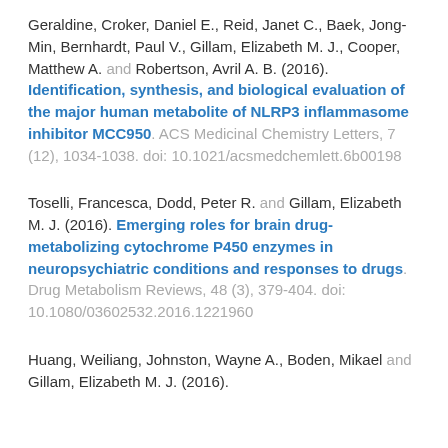Geraldine, Croker, Daniel E., Reid, Janet C., Baek, Jong-Min, Bernhardt, Paul V., Gillam, Elizabeth M. J., Cooper, Matthew A. and Robertson, Avril A. B. (2016). Identification, synthesis, and biological evaluation of the major human metabolite of NLRP3 inflammasome inhibitor MCC950. ACS Medicinal Chemistry Letters, 7 (12), 1034-1038. doi: 10.1021/acsmedchemlett.6b00198
Toselli, Francesca, Dodd, Peter R. and Gillam, Elizabeth M. J. (2016). Emerging roles for brain drug-metabolizing cytochrome P450 enzymes in neuropsychiatric conditions and responses to drugs. Drug Metabolism Reviews, 48 (3), 379-404. doi: 10.1080/03602532.2016.1221960
Huang, Weiliang, Johnston, Wayne A., Boden, Mikael and Gillam, Elizabeth M. J. (2016).